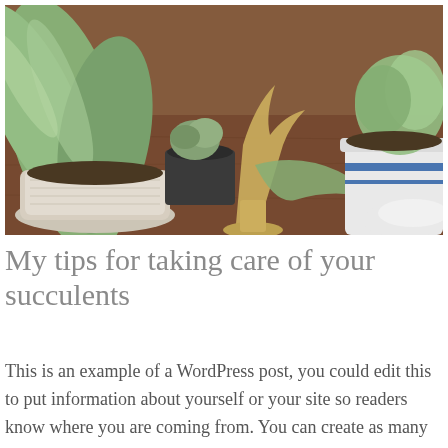[Figure (photo): Photo of succulent plants in pots on a wooden table. A large staghorn fern in a white ceramic pot is on the left, a smaller succulent in a black pot behind it, a gold metal bird sculpture in the center, and a blue-and-white ceramic pot with a plant on the right.]
My tips for taking care of your succulents
This is an example of a WordPress post, you could edit this to put information about yourself or your site so readers know where you are coming from. You can create as many posts as you like in order